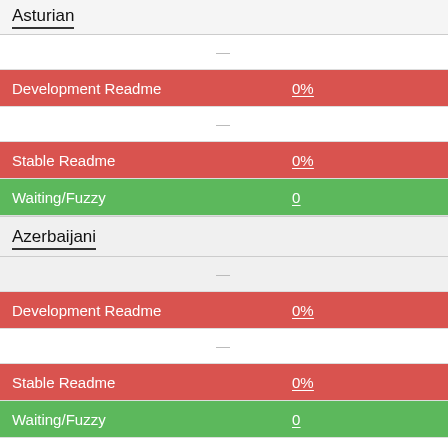Asturian
—
| Component | Value |
| --- | --- |
| Development Readme | 0% |
| — |  |
| Stable Readme | 0% |
| Waiting/Fuzzy | 0 |
Azerbaijani
—
| Component | Value |
| --- | --- |
| Development Readme | 0% |
| — |  |
| Stable Readme | 0% |
| Waiting/Fuzzy | 0 |